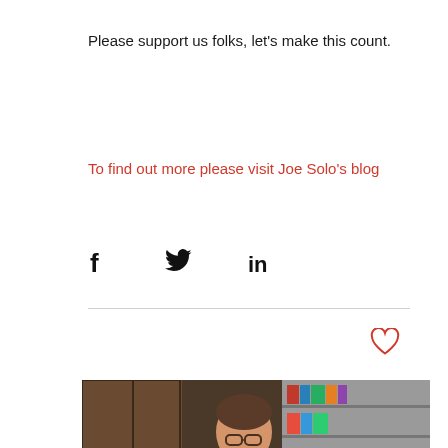Please support us folks, let's make this count.
To find out more please visit Joe Solo's blog
[Figure (infographic): Social share icons: Facebook (f), Twitter (bird), LinkedIn (in)]
[Figure (infographic): Heart/like icon outline in red]
[Figure (photo): Photo of a person smiling and holding a framed award plaque, standing in what appears to be an office or store with shelves in background]